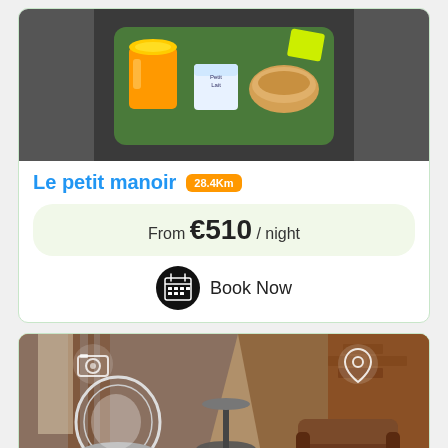[Figure (photo): Top portion of a breakfast tray with orange juice, yogurt, bread and green items on a green tray, viewed from above]
Le petit manoir
28.4Km
From €510 / night
Book Now
[Figure (photo): Interior room photo showing a wicker chair, small side table, and leather armchair in a attic-style room with wooden beams, with camera and location pin icons overlaid]